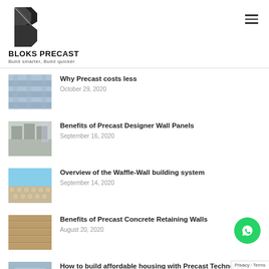BLOKS PRECAST — Build smarter, Build quicker
Why Precast costs less — October 29, 2020
Benefits of Precast Designer Wall Panels — September 16, 2020
Overview of the Waffle-Wall building system — September 14, 2020
Benefits of Precast Concrete Retaining Walls — August 20, 2020
How to build affordable housing with Precast Technology?